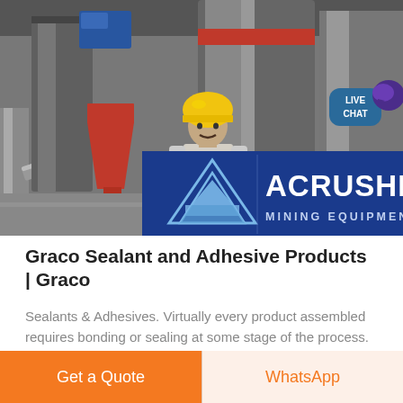[Figure (photo): Industrial mining equipment/machinery with a worker wearing a yellow hard hat, large cylindrical grinder machinery in background. ACRUSHER MINING EQUIPMENT brand banner overlaid at bottom of photo. Live Chat bubble visible top-right.]
Graco Sealant and Adhesive Products | Graco
Sealants & Adhesives. Virtually every product assembled requires bonding or sealing at some stage of the process. Graco offers manual and automated technologies for single-component and plural component bonding and sealing for a
Get a Quote
WhatsApp